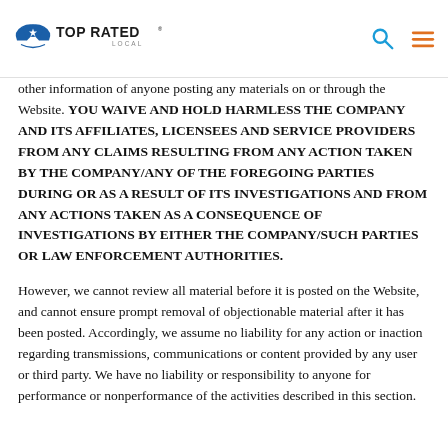TOP RATED LOCAL
other information of anyone posting any materials on or through the Website. YOU WAIVE AND HOLD HARMLESS THE COMPANY AND ITS AFFILIATES, LICENSEES AND SERVICE PROVIDERS FROM ANY CLAIMS RESULTING FROM ANY ACTION TAKEN BY THE COMPANY/ANY OF THE FOREGOING PARTIES DURING OR AS A RESULT OF ITS INVESTIGATIONS AND FROM ANY ACTIONS TAKEN AS A CONSEQUENCE OF INVESTIGATIONS BY EITHER THE COMPANY/SUCH PARTIES OR LAW ENFORCEMENT AUTHORITIES.
However, we cannot review all material before it is posted on the Website, and cannot ensure prompt removal of objectionable material after it has been posted. Accordingly, we assume no liability for any action or inaction regarding transmissions, communications or content provided by any user or third party. We have no liability or responsibility to anyone for performance or nonperformance of the activities described in this section.